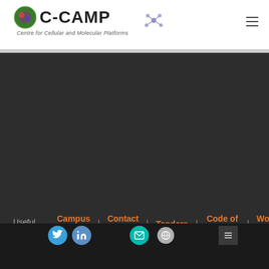[Figure (logo): C-CAMP logo with cell/molecular imagery icon and text 'C-CAMP Centre for Cellular and Molecular Platforms' with molecule graphic]
C-CAMP Centre for Cellular and Molecular Platforms
Useful Links : Campus Map | Contact Us | Tenders | Code of Conduct | Women's Cell | FCRA
[Figure (infographic): Social media icons: Twitter (blue circle), LinkedIn (blue circle), Email (teal circle), Globe icon, dark button with icon]
© 2016 - 2022 C-CAMP All Rights Reserved